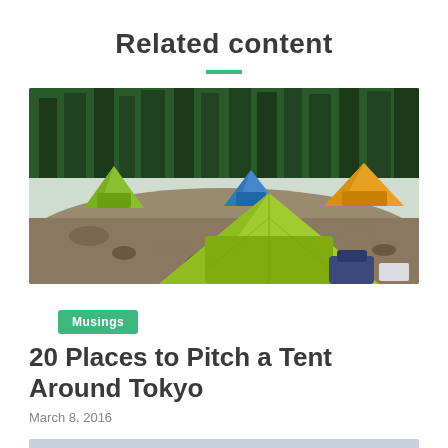Related content
[Figure (photo): Camping scene with multiple colorful tents (lime green, blue, orange/yellow) set up on rocky terrain with dense forest of tall trees in background]
Musings
20 Places to Pitch a Tent Around Tokyo
March 8, 2016
[Figure (photo): Partially visible photo at bottom of page, appears to show a snowy or cloudy mountain landscape]